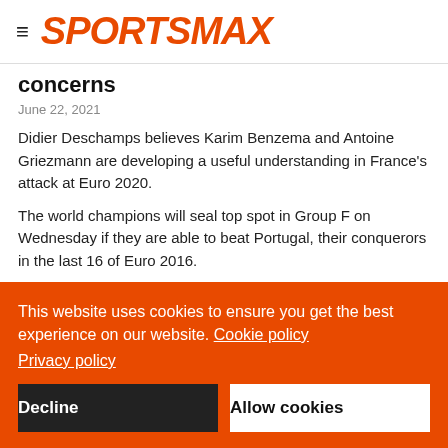SPORTSMAX
concerns
June 22, 2021
Didier Deschamps believes Karim Benzema and Antoine Griezmann are developing a useful understanding in France's attack at Euro 2020.
The world champions will seal top spot in Group F on Wednesday if they are able to beat Portugal, their conquerors in the last 16 of Euro 2016.
This website uses cookies to ensure you get the best experience on our website. Cookie policy
Privacy policy
Decline
Allow cookies